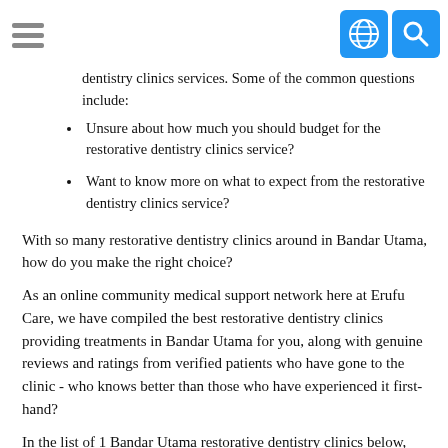[hamburger menu icon] [globe icon] [search icon]
dentistry clinics services. Some of the common questions include:
Unsure about how much you should budget for the restorative dentistry clinics service?
Want to know more on what to expect from the restorative dentistry clinics service?
With so many restorative dentistry clinics around in Bandar Utama, how do you make the right choice?
As an online community medical support network here at Erufu Care, we have compiled the best restorative dentistry clinics providing treatments in Bandar Utama for you, along with genuine reviews and ratings from verified patients who have gone to the clinic - who knows better than those who have experienced it first-hand?
In the list of 1 Bandar Utama restorative dentistry clinics below, you can find: